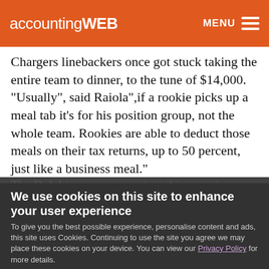accountingWEB  MENU
Chargers linebackers once got stuck taking the entire team to dinner, to the tune of $14,000. "Usually", said Raiola",if a rookie picks up a meal tab it's for his position group, not the whole team. Rookies are able to deduct those meals on their tax returns, up to 50 percent, just like a business meal."
We use cookies on this site to enhance your user experience
To give you the best possible experience, personalise content and ads, this site uses Cookies. Continuing to use the site you agree we may place these cookies on your device. You can view our Privacy Policy for more details.
[No, give me more info] [OK, I agree]